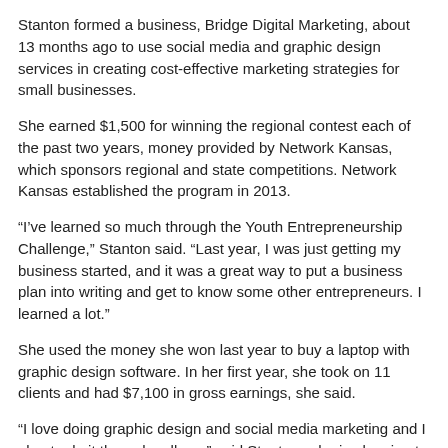Stanton formed a business, Bridge Digital Marketing, about 13 months ago to use social media and graphic design services in creating cost-effective marketing strategies for small businesses.
She earned $1,500 for winning the regional contest each of the past two years, money provided by Network Kansas, which sponsors regional and state competitions. Network Kansas established the program in 2013.
“I’ve learned so much through the Youth Entrepreneurship Challenge,” Stanton said. “Last year, I was just getting my business started, and it was a great way to put a business plan into writing and get to know some other entrepreneurs. I learned a lot.”
She used the money she won last year to buy a laptop with graphic design software. In her first year, she took on 11 clients and had $7,100 in gross earnings, she said.
“I love doing graphic design and social media marketing and I plan to do it through college,” said Stanton, who is planning to attend Providence Baptist College in Elgin, Illinois, next fall. “Certainly on a campus with many people who are well versed with social media, I could even expand and add some employees.”
Fifteen-year-old Brook Staten, a member of the Leonardville Hustlers 4-H Club, also participated in the regional competition in Manhattan, and said the experience is going to benefit her as she forms her career goals.